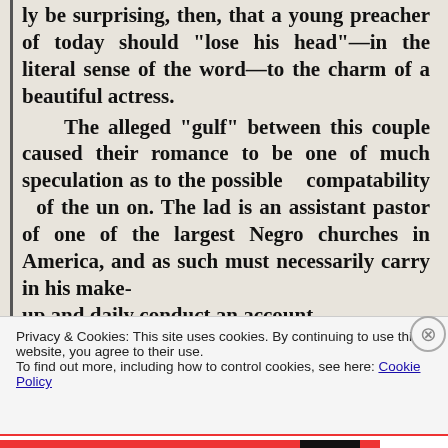ly be surprising, then, that a young preacher of today should "lose his head"—in the literal sense of the word—to the charm of a beautiful actress.
The alleged "gulf" between this couple caused their romance to be one of much speculation as to the possible compatability of the un on. The lad is an assistant pastor of one of the largest Negro churches in America, and as such must necessarily carry in his make-up and daily conduct an account
Privacy & Cookies: This site uses cookies. By continuing to use this website, you agree to their use.
To find out more, including how to control cookies, see here: Cookie Policy